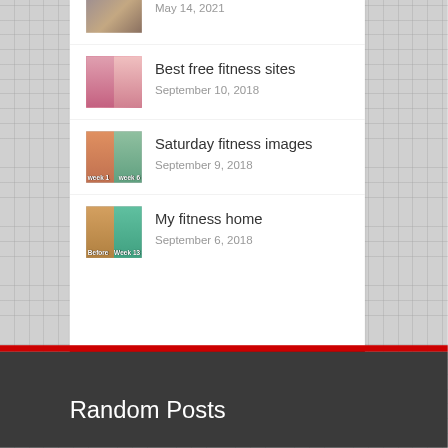[Figure (photo): Partial fitness transformation photo thumbnail at top of list]
May 14, 2021
[Figure (photo): Fitness transformation photo thumbnail showing two poses in pink/red colors]
Best free fitness sites
September 10, 2018
[Figure (photo): Fitness transformation photo thumbnail showing before/after poses week 1 and week 6]
Saturday fitness images
September 9, 2018
[Figure (photo): Fitness transformation photo thumbnail showing Before and Week 13 comparison]
My fitness home
September 6, 2018
Random Posts